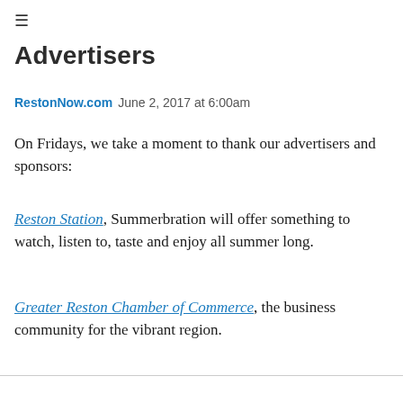≡
Advertisers
RestonNow.com   June 2, 2017 at 6:00am
On Fridays, we take a moment to thank our advertisers and sponsors:
Reston Station, Summerbration will offer something to watch, listen to, taste and enjoy all summer long.
Greater Reston Chamber of Commerce, the business community for the vibrant region.